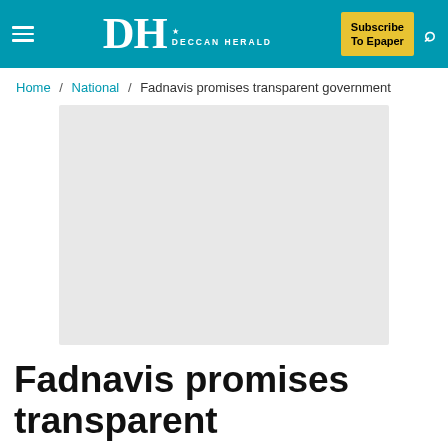Deccan Herald — Subscribe To Epaper
Home / National / Fadnavis promises transparent government
[Figure (photo): Article image placeholder (gray rectangle)]
Fadnavis promises transparent government